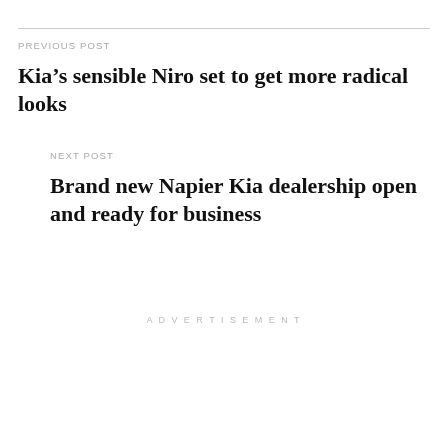PREVIOUS POST
Kia’s sensible Niro set to get more radical looks
NEXT POST
Brand new Napier Kia dealership open and ready for business
ADVERTISEMENT